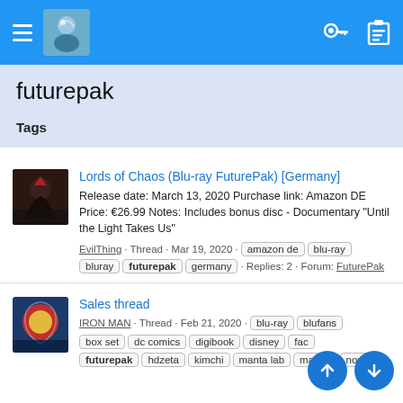futurepak — Tags search results
futurepak
Tags
Lords of Chaos (Blu-ray FuturePak) [Germany]
Release date: March 13, 2020 Purchase link: Amazon DE Price: €26.99 Notes: Includes bonus disc - Documentary "Until the Light Takes Us"
EvilThing · Thread · Mar 19, 2020 · amazon de · blu-ray · bluray · futurepak · germany · Replies: 2 · Forum: FuturePak
Sales thread
IRON MAN · Thread · Feb 21, 2020 · blu-ray · blufans · box set · dc comics · digibook · disney · fac... · futurepak · hdzeta · kimchi · manta lab · marvel · nova